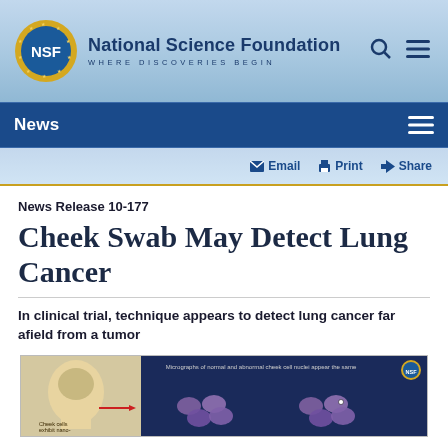[Figure (logo): NSF logo with circular design and gear/stars border]
National Science Foundation WHERE DISCOVERIES BEGIN
News
Email  Print  Share
News Release 10-177
Cheek Swab May Detect Lung Cancer
In clinical trial, technique appears to detect lung cancer far afield from a tumor
[Figure (illustration): Scientific illustration showing cheek cells and micrographs of normal and abnormal cheek cell nuclei with NSF logo, on dark blue background]